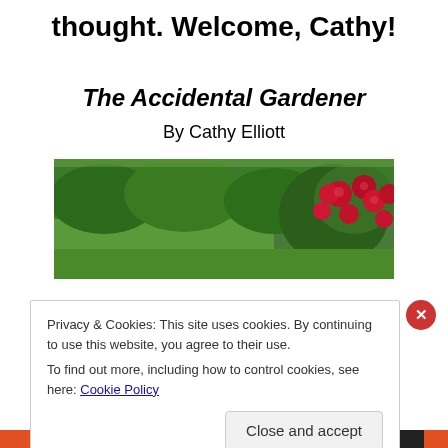thought. Welcome, Cathy!
The Accidental Gardener
By Cathy Elliott
[Figure (photo): Photo of a garden showing green grass/hedges and red roses blooming on the right side]
Privacy & Cookies: This site uses cookies. By continuing to use this website, you agree to their use. To find out more, including how to control cookies, see here: Cookie Policy
Close and accept